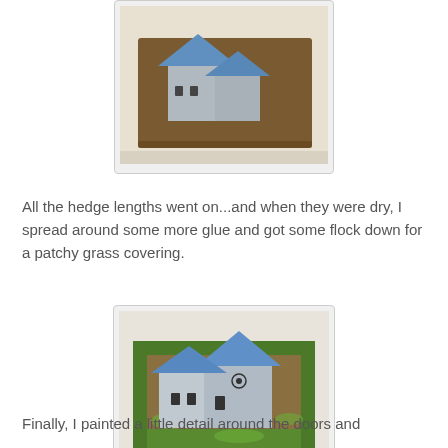[Figure (photo): Top-down view of a miniature building model with blue roof on a brown base/mat, showing hedge lengths attached, before flock grass covering.]
All the hedge lengths went on...and when they were dry, I spread around some more glue and got some flock down for a patchy grass covering.
[Figure (photo): Miniature building model with blue roofs on a base now covered with patchy green flock grass, showing completed grass covering around the church/building model.]
Finally, I painted a little detail around the doors and